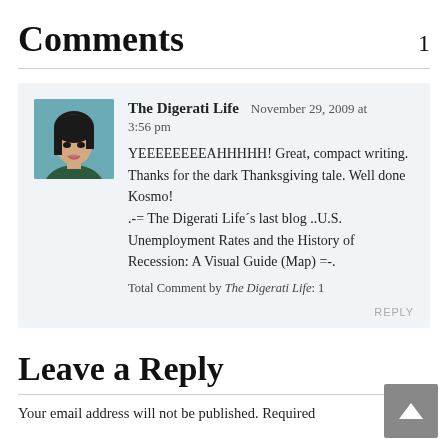Comments 1
The Digerati Life  November 29, 2009 at 3:56 pm
YEEEEEEEEAHHHHH! Great, compact writing. Thanks for the dark Thanksgiving tale. Well done Kosmo!
.-= The Digerati Life´s last blog ..U.S. Unemployment Rates and the History of Recession: A Visual Guide (Map) =-.
Total Comment by The Digerati Life: 1
REPLY
Leave a Reply
Your email address will not be published. Required